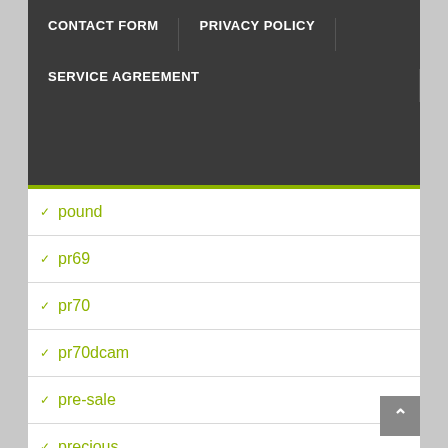CONTACT FORM | PRIVACY POLICY | SERVICE AGREEMENT
pound
pr69
pr70
pr70dcam
pre-sale
precious
presale
presale-2021-w
president
pride
pristine
privy